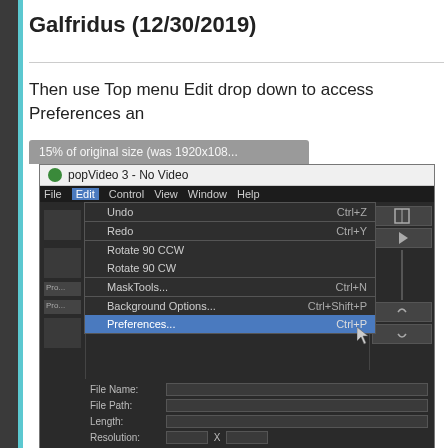Galfridus (12/30/2019)
Then use Top menu Edit drop down to access Preferences an
[Figure (screenshot): Screenshot of popVideo 3 application showing the Edit menu dropdown open with options including Undo (Ctrl+Z), Redo (Ctrl+Y), Rotate 90 CCW, Rotate 90 CW, MaskTools... (Ctrl+N), Background Options... (Ctrl+Shift+P), and Preferences... (Ctrl+P) highlighted. A tooltip bar at top reads '15% of original size (was 1920x108...'. The application shows file properties panel at bottom with fields for File Name, File Path, Length, Resolution, Codec, Frame Rate FPS, and File Size.]